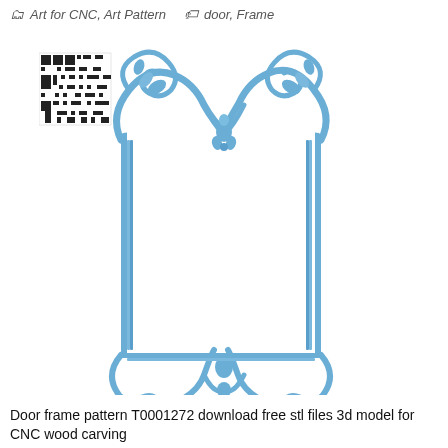Art for CNC, Art Pattern   door, Frame
[Figure (illustration): Ornate decorative door frame pattern in blue (T0001272) with elaborate baroque/rococo style scrollwork and floral motifs at the top and bottom, with a QR code overlaid in the upper left corner of the image.]
Door frame pattern T0001272 download free stl files 3d model for CNC wood carving